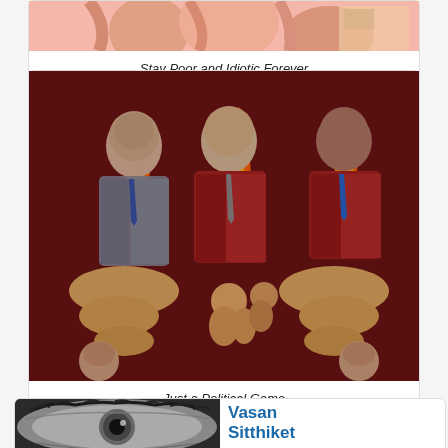[Figure (illustration): Partial view of a painting showing colorful figures on a pink background - top portion only visible]
Stay Poor and Idiotic Forever
[Figure (illustration): Painting titled 'Just a Political Game' showing three suited men with flames behind them standing over two nude figures bent over, with small figures in between, on a dark red background]
Just a Political Game
[Figure (photo): Close-up black and white photograph of a human eye]
Vasan Sitthiket
(วสันต์ สิทธิเขต)